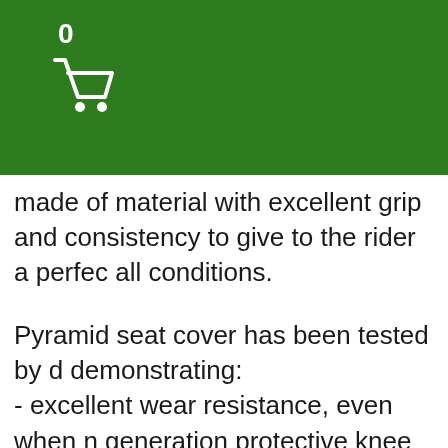0
made of material with excellent grip and consistency to give to the rider a perfect all conditions.
Pyramid seat cover has been tested by demonstrating:
- excellent wear resistance, even when using next generation protective knee guards
- maximum grip even in mud and rain
- extremely easy to apply.